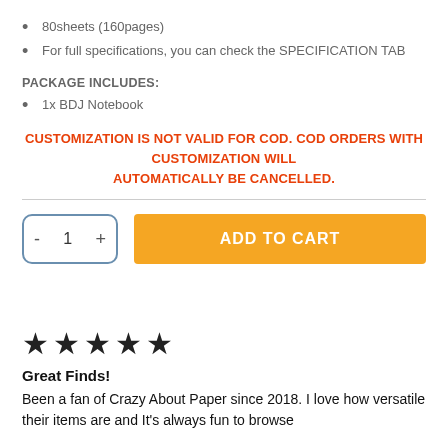80sheets (160pages)
For full specifications, you can check the SPECIFICATION TAB
PACKAGE INCLUDES:
1x BDJ Notebook
CUSTOMIZATION IS NOT VALID FOR COD. COD ORDERS WITH CUSTOMIZATION WILL AUTOMATICALLY BE CANCELLED.
[Figure (other): Quantity selector with minus and plus buttons showing value 1, and an orange Add to Cart button]
[Figure (other): Five filled black stars rating]
Great Finds!
Been a fan of Crazy About Paper since 2018. I love how versatile their items are and It's always fun to browse